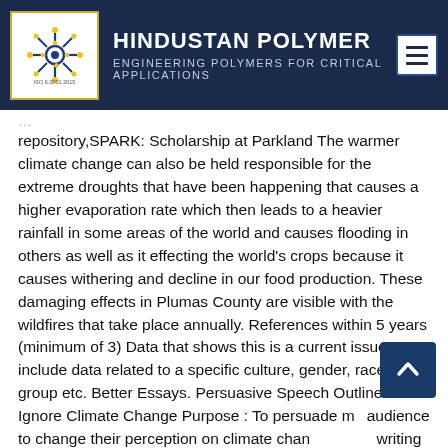HINDUSTAN POLYMER — Engineering POLYMERS FOR CRITICAL APPLICATIONS
repository,SPARK: Scholarship at Parkland The warmer climate change can also be held responsible for the extreme droughts that have been happening that causes a higher evaporation rate which then leads to a heavier rainfall in some areas of the world and causes flooding in others as well as it effecting the world's crops because it causes withering and decline in our food production. These damaging effects in Plumas County are visible with the wildfires that take place annually. References within 5 years (minimum of 3) Data that shows this is a current issue Must include data related to a specific culture, gender, race, age group etc. Better Essays. Persuasive Speech Outline Don't Ignore Climate Change Purpose : To persuade my audience to change their perception on climate change essay writing service If you find some inconsistencies or mistakes in your paper, you are welcome to request a free revision. In this day and age, our work to change the course of our currently